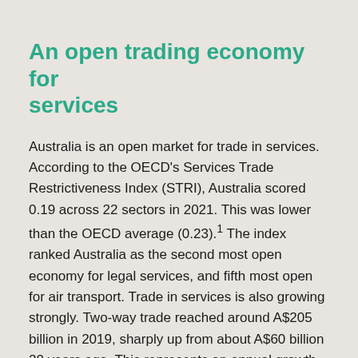An open trading economy for services
Australia is an open market for trade in services. According to the OECD's Services Trade Restrictiveness Index (STRI), Australia scored 0.19 across 22 sectors in 2021. This was lower than the OECD average (0.23).¹ The index ranked Australia as the second most open economy for legal services, and fifth most open for air transport. Trade in services is also growing strongly. Two-way trade reached around A$205 billion in 2019, sharply up from about A$60 billion 20 years ago. This represents an annual growth rate of 6.3% over the past two decades.